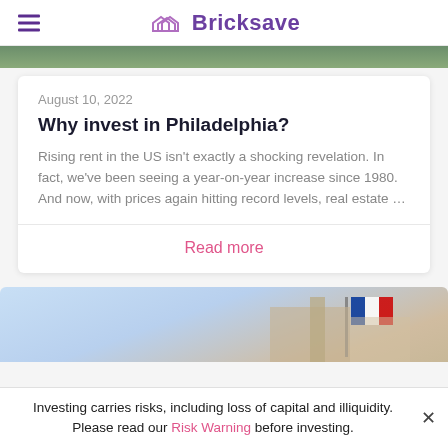Bricksave
[Figure (photo): Top portion of a building/street photo, partially cropped]
August 10, 2022
Why invest in Philadelphia?
Rising rent in the US isn't exactly a shocking revelation. In fact, we've been seeing a year-on-year increase since 1980. And now, with prices again hitting record levels, real estate ...
Read more
[Figure (photo): Building with flags against a blue sky, partially cropped at bottom of page]
Investing carries risks, including loss of capital and illiquidity. Please read our Risk Warning before investing.